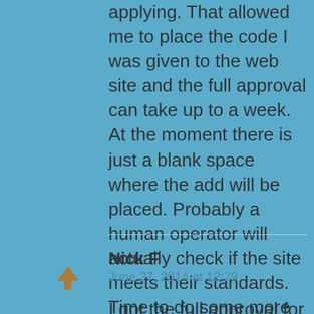applying. That allowed me to place the code I was given to the web site and the full approval can take up to a week. At the moment there is just a blank space where the add will be placed. Probably a human operator will actually check if the site meets their standards. Time to do some more work on the web site
Nick F
June 27, 2014 at 12:29
I got the full approval for google adsense today (two